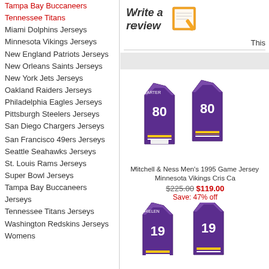Tampa Bay Buccaneers
Tennessee Titans
Miami Dolphins Jerseys
Minnesota Vikings Jerseys
New England Patriots Jerseys
New Orleans Saints Jerseys
New York Jets Jerseys
Oakland Raiders Jerseys
Philadelphia Eagles Jerseys
Pittsburgh Steelers Jerseys
San Diego Chargers Jerseys
San Francisco 49ers Jerseys
Seattle Seahawks Jerseys
St. Louis Rams Jerseys
Super Bowl Jerseys
Tampa Bay Buccaneers Jerseys
Tennessee Titans Jerseys
Washington Redskins Jerseys
Womens
[Figure (illustration): Write a review icon with notepad and pen graphic]
This
[Figure (photo): Mitchell & Ness Men's 1995 Game Jersey Minnesota Vikings Cris Carter #80 purple jersey shown front and back]
Mitchell & Ness Men's 1995 Game Jersey Minnesota Vikings Cris Ca
$225.00 $119.00 Save: 47% off
[Figure (photo): Minnesota Vikings #19 Thielen purple jersey shown front and back, partially visible]